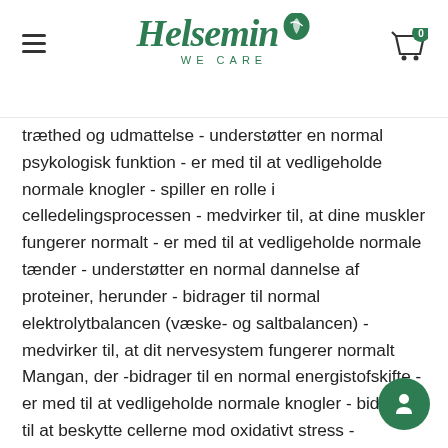Helsemin WE CARE
træthed og udmattelse - understøtter en normal psykologisk funktion - er med til at vedligeholde normale knogler - spiller en rolle i celledelingsprocessen - medvirker til, at dine muskler fungerer normalt - er med til at vedligeholde normale tænder - understøtter en normal dannelse af proteiner, herunder - bidrager til normal elektrolytbalancen (væske- og saltbalancen) - medvirker til, at dit nervesystem fungerer normalt Mangan, der -bidrager til en normal energistofskifte - er med til at vedligeholde normale knogler - bidrager til at beskytte cellerne mod oxidativt stress - medvirker til at vedligeholde et normalt bindevæv Molybdæn, der - understøtter kroppens normale omsætning af svovlholdige aminosyrer Zink, der - medvirker til dit immunsystems normale funktion - er med til at vedligeholde normale knogler - bidrager til